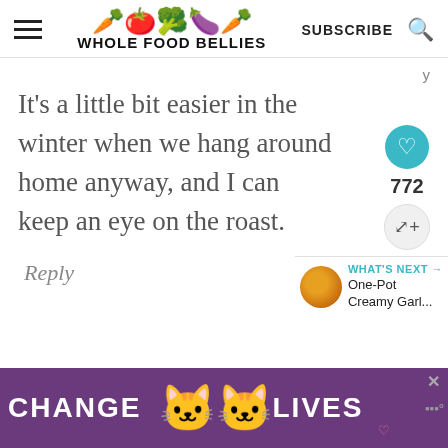WHOLE FOOD BELLIES | SUBSCRIBE
It's a little bit easier in the winter when we hang around home anyway, and I can keep an eye on the roast.
Reply
772
WHAT'S NEXT → One-Pot Creamy Garl...
[Figure (screenshot): Ad banner with purple background showing text CHANGE LIVES with cat images in center, close button X, and small heart icon]
CHANGE LIVES